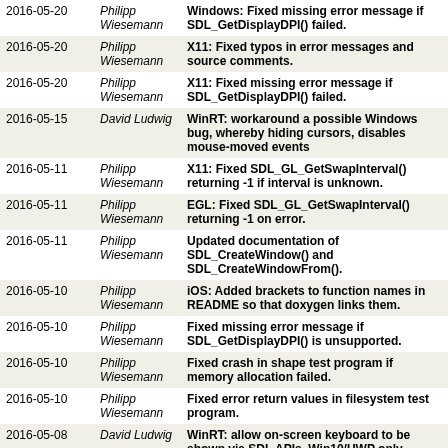| Date | Author | Description |
| --- | --- | --- |
| 2016-05-20 | Philipp Wiesemann | Windows: Fixed missing error message if SDL_GetDisplayDPI() failed. |
| 2016-05-20 | Philipp Wiesemann | X11: Fixed typos in error messages and source comments. |
| 2016-05-20 | Philipp Wiesemann | X11: Fixed missing error message if SDL_GetDisplayDPI() failed. |
| 2016-05-15 | David Ludwig | WinRT: workaround a possible Windows bug, whereby hiding cursors, disables mouse-moved events |
| 2016-05-11 | Philipp Wiesemann | X11: Fixed SDL_GL_GetSwapInterval() returning -1 if interval is unknown. |
| 2016-05-11 | Philipp Wiesemann | EGL: Fixed SDL_GL_GetSwapInterval() returning -1 on error. |
| 2016-05-11 | Philipp Wiesemann | Updated documentation of SDL_CreateWindow() and SDL_CreateWindowFrom(). |
| 2016-05-10 | Philipp Wiesemann | iOS: Added brackets to function names in README so that doxygen links them. |
| 2016-05-10 | Philipp Wiesemann | Fixed missing error message if SDL_GetDisplayDPI() is unsupported. |
| 2016-05-10 | Philipp Wiesemann | Fixed crash in shape test program if memory allocation failed. |
| 2016-05-10 | Philipp Wiesemann | Fixed error return values in filesystem test program. |
| 2016-05-08 | David Ludwig | WinRT: allow on-screen keyboard to be shown via SDL APIs, Win10/UWP only |
| 2016-05-05 | Philipp Wiesemann | Fixed memory leak in game controller test program. |
| 2016-05-05 | Philipp Wiesemann | Updated documentation of SDL_HINT_THREAD_STACK_SIZE in header file. |